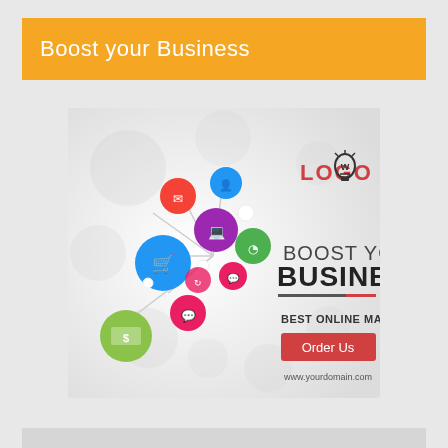Boost your Business
[Figure (infographic): Marketing infographic banner showing colorful social media/business icons connected by lines on the left side, with 'LOGO' text and lightbulb icon top right, 'BOOST YOUR BUSINESS' heading, 'BEST ONLINE MARKETING TIPS' subheading, a red 'Order Us' button, and 'www.yourdomain.com' URL at the bottom.]